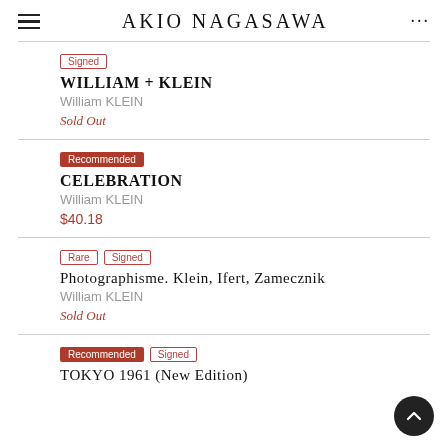AKIO NAGASAWA
Signed | WILLIAM + KLEIN | William KLEIN | Sold Out
Recommended | CELEBRATION | William KLEIN | $40.18
Rare Signed | Photographisme. Klein, Ifert, Zamecznik | William KLEIN | Sold Out
Recommended Signed | TOKYO 1961 (New Edition)